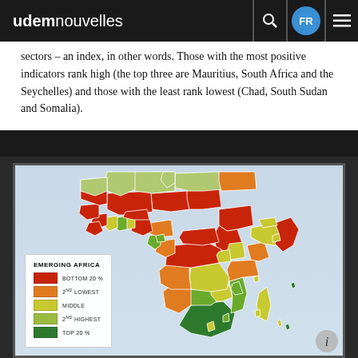udemnouvelles
sectors – an index, in other words. Those with the most positive indicators rank high (the top three are Mauritius, South Africa and the Seychelles) and those with the least rank lowest (Chad, South Sudan and Somalia).
[Figure (map): Map of Africa showing countries colored by ranking quintile. Legend titled EMERGING AFRICA shows: Bottom 20% (red), 2nd lowest (orange), Middle (yellow), 2nd highest (light green), Top 20% (dark green).]